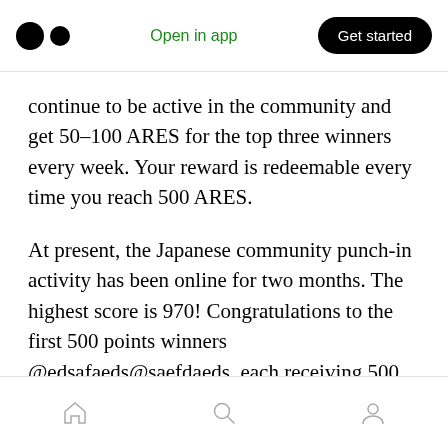Medium logo | Open in app | Get started
continue to be active in the community and get 50–100 ARES for the top three winners every week. Your reward is redeemable every time you reach 500 ARES.
At present, the Japanese community punch-in activity has been online for two months. The highest score is 970! Congratulations to the first 500 points winners @edsafaeds@saefdaeds, each receiving 500 ARES.
Social Media Continues to Grow
Home | Search | Profile